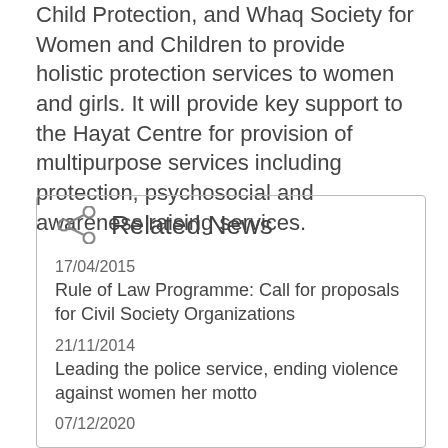Child Protection, and Whaq Society for Women and Children to provide holistic protection services to women and girls. It will provide key support to the Hayat Centre for provision of multipurpose services including protection, psychosocial and awareness raising services.
Related News
17/04/2015
Rule of Law Programme: Call for proposals for Civil Society Organizations
21/11/2014
Leading the police service, ending violence against women her motto
07/12/2020